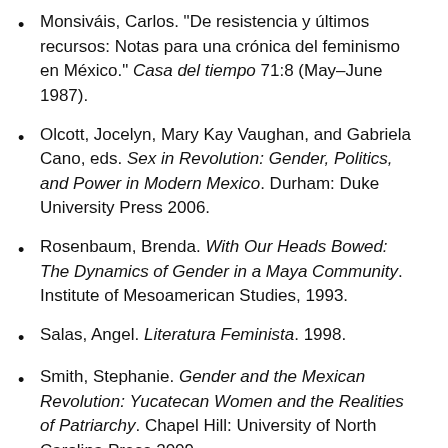Monsiváis, Carlos. "De resistencia y últimos recursos: Notas para una crónica del feminismo en México." Casa del tiempo 71:8 (May–June 1987).
Olcott, Jocelyn, Mary Kay Vaughan, and Gabriela Cano, eds. Sex in Revolution: Gender, Politics, and Power in Modern Mexico. Durham: Duke University Press 2006.
Rosenbaum, Brenda. With Our Heads Bowed: The Dynamics of Gender in a Maya Community. Institute of Mesoamerican Studies, 1993.
Salas, Angel. Literatura Feminista. 1998.
Smith, Stephanie. Gender and the Mexican Revolution: Yucatecan Women and the Realities of Patriarchy. Chapel Hill: University of North Carolina Press 2009.
Soto, Shirlene Ann. Emergence of the Modern Mexican Women: Her Participation in Revolution and Struggle for Equality. 1910-1940. Arden Press...